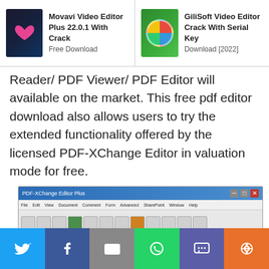[Figure (screenshot): Top navigation banner showing two software links: Movavi Video Editor Plus 22.0.1 With Crack Free Download, and GiliSoft Video Editor Crack With Serial Key Download [2022]]
Reader/ PDF Viewer/ PDF Editor will available on the market. This free pdf editor download also allows users to try the extended functionality offered by the licensed PDF-XChange Editor in valuation mode for free.
[Figure (screenshot): Screenshot of PDF-XChange Editor Plus application window showing the software interface with menu bar, toolbar, and PDF-XChange Editor Plus dialog box with product description text.]
[Figure (infographic): Social sharing bar at the bottom with buttons for Twitter, Facebook, Email, WhatsApp, SMS, and More sharing options.]